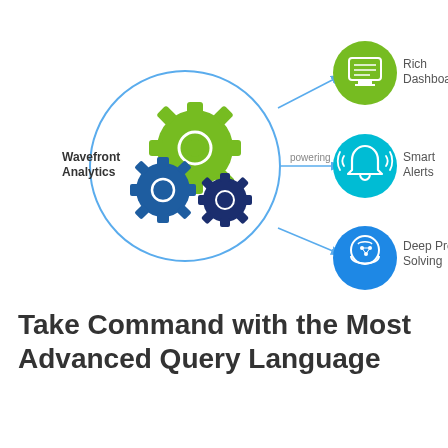[Figure (flowchart): Infographic showing Wavefront Analytics (center circle with three gears) connected via arrows labeled 'powering' to three output circles: Rich Dashboards (green, top right), Smart Alerts (cyan/teal, middle right), Deep Problem Solving (blue, bottom right).]
Take Command with the Most Advanced Query Language
...